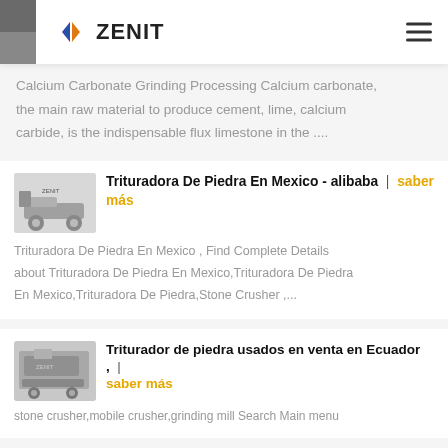ZENIT
Calcium Carbonate Grinding Processing Calcium carbonate, the main raw material to produce cement, lime, calcium carbide, is the indispensable flux limestone in the ....
Trituradora De Piedra En Mexico - alibaba | saber más
Trituradora De Piedra En Mexico , Find Complete Details about Trituradora De Piedra En Mexico,Trituradora De Piedra En Mexico,Trituradora De Piedra,Stone Crusher ,...
Triturador de piedra usados en venta en Ecuador , | saber más
stone crusher,mobile crusher,grinding mill Search Main menu